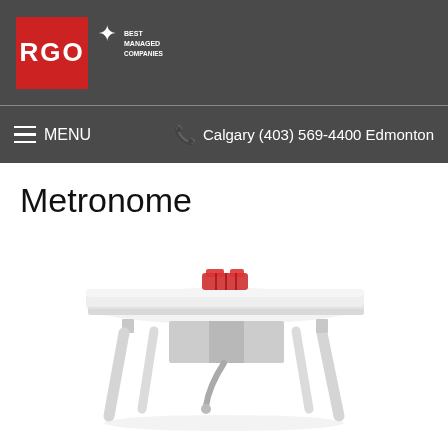RGO | Best Managed Companies
MENU  Calgary (403) 569-4400 Edmonton
Metronome
[Figure (photo): A white office desk (Metronome) with angled legs, a modesty panel, cable management arm, and a red accessory organizer on top, photographed against a white background.]